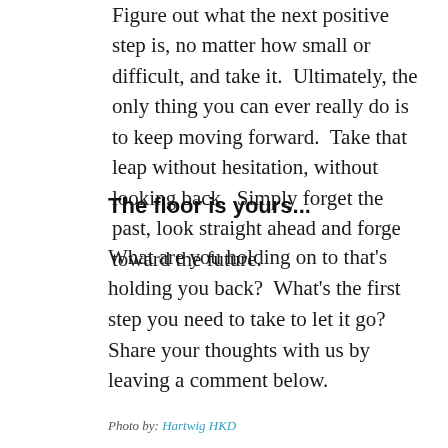Figure out what the next positive step is, no matter how small or difficult, and take it.  Ultimately, the only thing you can ever really do is to keep moving forward.  Take that leap without hesitation, without looking back.  Simply forget the past, look straight ahead and forge toward the future.
The floor is yours...
What are you holding on to that's holding you back?  What's the first step you need to take to let it go?  Share your thoughts with us by leaving a comment below.
Photo by: Hartwig HKD